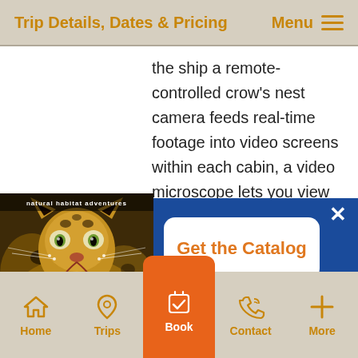Trip Details, Dates & Pricing  Menu
the ship a remote-controlled crow's nest camera feeds real-time footage into video screens within each cabin, a video microscope lets you view Antarctica's invisible facets, and a hydrophone lets you listen in on whales. A remotely operated vehicle (ROV) capable of exploring undersea depths up to 1,000 feet gathers high-definition video to be
[Figure (photo): Natural Habitat Adventures catalog cover showing a leopard]
Get the Catalog
Home  Trips  Book  Contact  More